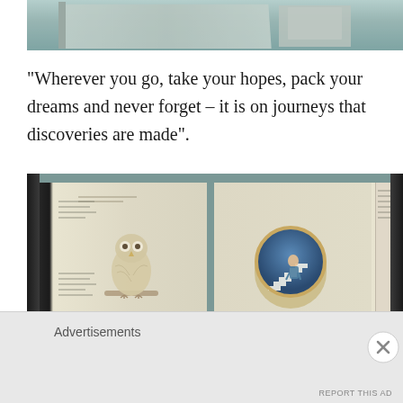[Figure (photo): Top portion of an open book photographed on a teal/grey textured surface, showing pages fanned open with illustrations visible]
“Wherever you go, take your hopes, pack your dreams and never forget – it is on journeys that discoveries are made”.
[Figure (photo): Open illustrated book photographed on teal surface. Left page shows an owl illustration with text. Right page shows a circular portal illustration with a figure on a staircase. Dark spine visible on both sides.]
Advertisements